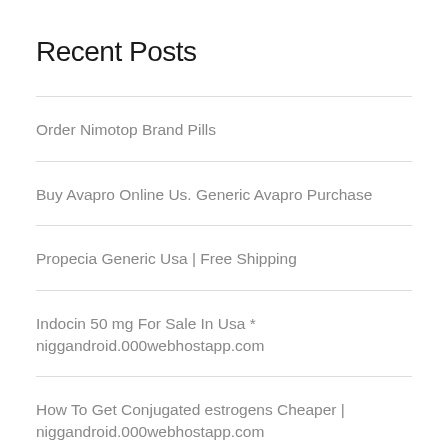Recent Posts
Order Nimotop Brand Pills
Buy Avapro Online Us. Generic Avapro Purchase
Propecia Generic Usa | Free Shipping
Indocin 50 mg For Sale In Usa * niggandroid.000webhostapp.com
How To Get Conjugated estrogens Cheaper | niggandroid.000webhostapp.com